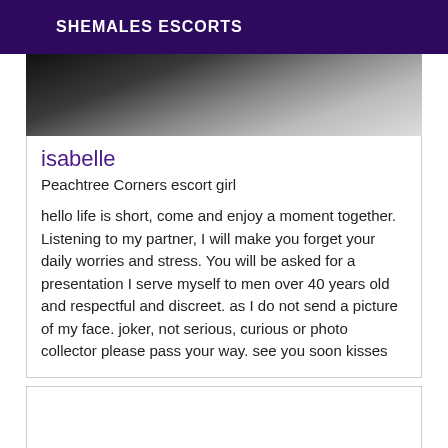SHEMALES ESCORTS
[Figure (photo): Black and white photo of a person, partially cropped, showing upper body]
isabelle
Peachtree Corners escort girl
hello life is short, come and enjoy a moment together. Listening to my partner, I will make you forget your daily worries and stress. You will be asked for a presentation I serve myself to men over 40 years old and respectful and discreet. as I do not send a picture of my face. joker, not serious, curious or photo collector please pass your way. see you soon kisses